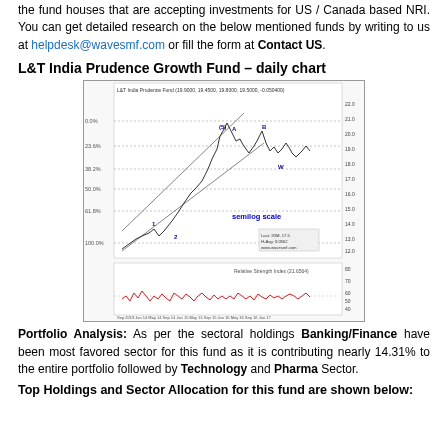the fund houses that are accepting investments for US / Canada based NRI. You can get detailed research on the below mentioned funds by writing to us at helpdesk@wavesmf.com or fill the form at Contact US.
L&T India Prudence Growth Fund – daily chart
[Figure (continuous-plot): Daily chart of L&T India Prudence Growth Fund showing price action with Elliott wave labels (1,2,3,4,5), Fibonacci retracement levels (0.0%, 23.6%, 38.2%, 50.0%, 61.8%, 100.0%), channel lines, semilog scale notation, and a Relative Strength Index (RSI) panel below. The main chart shows an upward trending price series with wave counts and a lower RSI oscillator panel in red.]
Portfolio Analysis: As per the sectoral holdings Banking/Finance have been most favored sector for this fund as it is contributing nearly 14.31% to the entire portfolio followed by Technology and Pharma Sector.
Top Holdings and Sector Allocation for this fund are shown below: